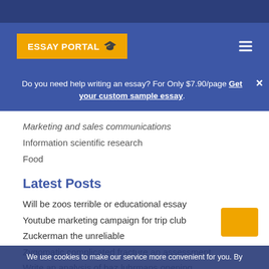ESSAY PORTAL
Do you need help writing an essay? For Only $7.90/page Get your custom sample essay.
Marketing and sales communications
Information scientific research
Food
Latest Posts
Will be zoos terrible or educational essay
Youtube marketing campaign for trip club
Zuckerman the unreliable
Zygomatic complicated fracture an assessment
Write an analysis of baz luhrmans opening
Xrp xrp inspecting price using the yale selling
Zinn howard part questions and answers article
Women reproductive system essay
We use cookies to make our service more convenient for you. By